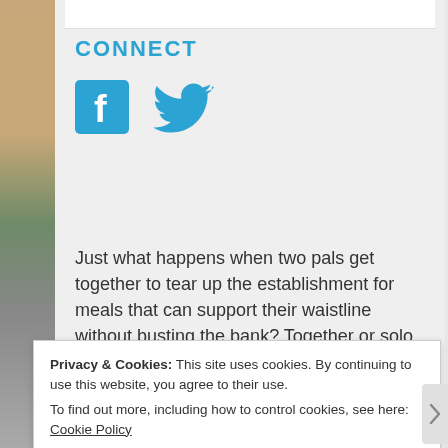CONNECT
[Figure (illustration): Facebook icon (blue square with white 'f') and Twitter bird icon (blue)]
Just what happens when two pals get together to tear up the establishment for meals that can support their waistline without busting the bank? Together or solo, they will look at the food, arts and entertainment scene around Victoria, BC (and
Privacy & Cookies: This site uses cookies. By continuing to use this website, you agree to their use.
To find out more, including how to control cookies, see here: Cookie Policy
Close and accept